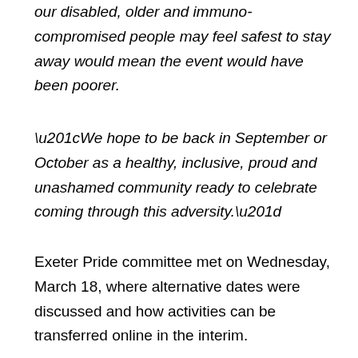our disabled, older and immuno-compromised people may feel safest to stay away would mean the event would have been poorer.
“We hope to be back in September or October as a healthy, inclusive, proud and unashamed community ready to celebrate coming through this adversity.”
Exeter Pride committee met on Wednesday, March 18, where alternative dates were discussed and how activities can be transferred online in the interim.